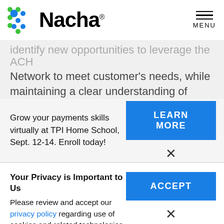[Figure (logo): Nacha logo with green and blue dot pattern and wordmark]
identify new opportunities to leverage the ACH Network to meet customer's needs, while maintaining a clear understanding of network
Grow your payments skills virtually at TPI Home School, Sept. 12-14. Enroll today!
LEARN MORE
×
Your Privacy is Important to Us
Please review and accept our privacy policy regarding use of cookies and related technologies.
ACCEPT
×